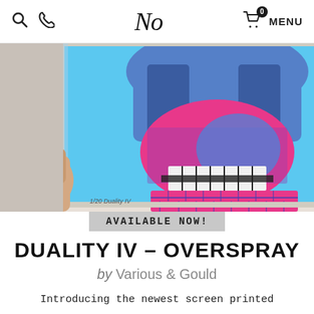No — [logo] | MENU | 0
[Figure (photo): Close-up photo of a colorful screen print artwork showing a skull motif with blue, pink, and black patterns including brick and geometric designs on a bright blue background. A hand is visible at the lower left holding the print. A second similar print is partially visible at the right edge.]
AVAILABLE NOW!
DUALITY IV – OVERSPRAY
by Various & Gould
Introducing the newest screen printed